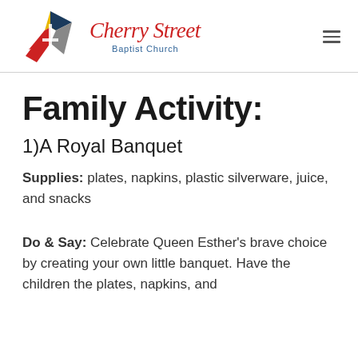[Figure (logo): Cherry Street Baptist Church logo with colorful star/cross emblem and red script text]
Family Activity:
1)A Royal Banquet
Supplies: plates, napkins, plastic silverware, juice, and snacks
Do & Say: Celebrate Queen Esther's brave choice by creating your own little banquet. Have the children the plates, napkins, and...